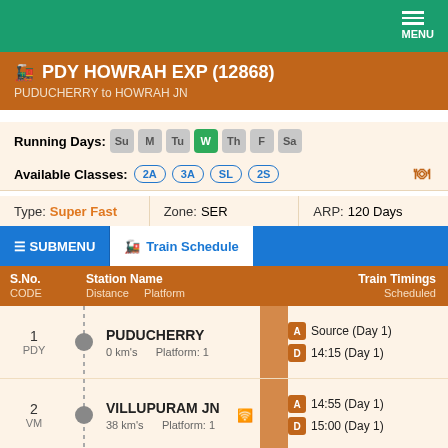MENU
PDY HOWRAH EXP (12868) — PUDUCHERRY to HOWRAH JN
Running Days: Su M Tu W Th F Sa (W is active)
Available Classes: 2A 3A SL 2S
Type: Super Fast   Zone: SER   ARP: 120 Days
SUBMENU  Train Schedule
| S.No. CODE | Station Name / Distance / Platform | Train Timings Scheduled |
| --- | --- | --- |
| 1 PDY | PUDUCHERRY 0 km's  Platform: 1 | A Source (Day 1)
D 14:15 (Day 1) |
| 2 VM | VILLUPURAM JN 38 km's  Platform: 1 | A 14:55 (Day 1)
D 15:00 (Day 1) |
| 3 VLR | VELLORE CANT 188 km's  Platform: 2 | A 17:13 (Day 1)
D 17:15 (Day 1) |
| 4 KPD | KATPADI JN | A 17:55 (Day 1) |